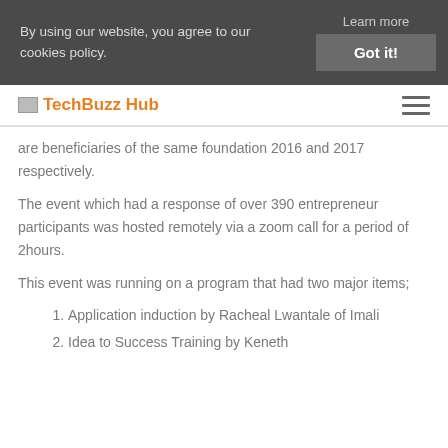By using our website, you agree to our cookies policy. Learn more Got it!
TechBuzz Hub
are beneficiaries of the same foundation 2016 and 2017 respectively.
The event which had a response of over 390 entrepreneur participants was hosted remotely via a zoom call for a period of 2hours.
This event was running on a program that had two major items;
Application induction by Racheal Lwantale of Imali
Idea to Success Training by Keneth